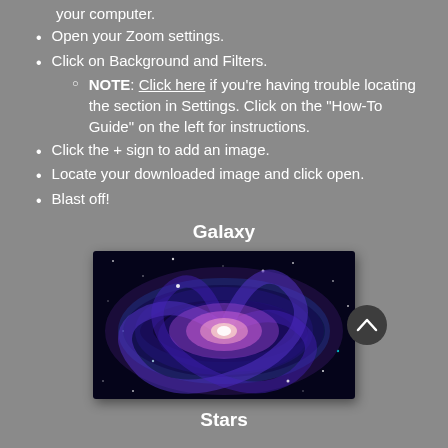your computer.
Open your Zoom settings.
Click on Background and Filters.
NOTE: Click here if you're having trouble locating the section in Settings. Click on the "How-To Guide" on the left for instructions.
Click the + sign to add an image.
Locate your downloaded image and click open.
Blast off!
Galaxy
[Figure (photo): A spiral galaxy image with purple and blue colors against a dark space background, with a bright white/pink center. A scroll-up button (dark circle with caret) appears overlaid at the right.]
Stars